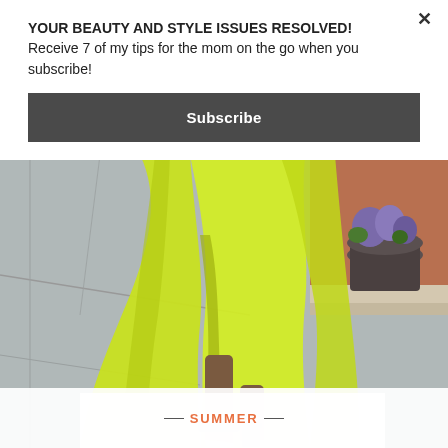YOUR BEAUTY AND STYLE ISSUES RESOLVED! Receive 7 of my tips for the mom on the go when you subscribe!
Subscribe
[Figure (photo): Lower half of a person walking on a gray sidewalk wearing a flowing neon yellow/chartreuse maxi dress with a slit, showing black strappy sandal heels. Background shows a storefront and purple flowers in a planter.]
SUMMER